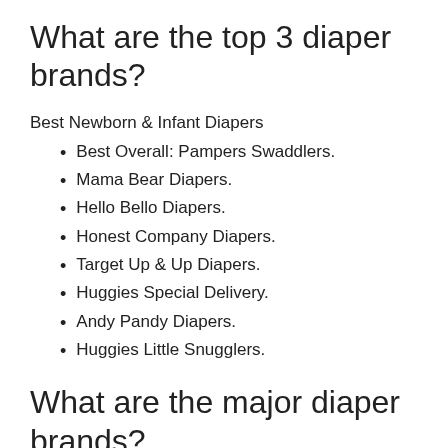What are the top 3 diaper brands?
Best Newborn & Infant Diapers
Best Overall: Pampers Swaddlers.
Mama Bear Diapers.
Hello Bello Diapers.
Honest Company Diapers.
Target Up & Up Diapers.
Huggies Special Delivery.
Andy Pandy Diapers.
Huggies Little Snugglers.
What are the major diaper brands?